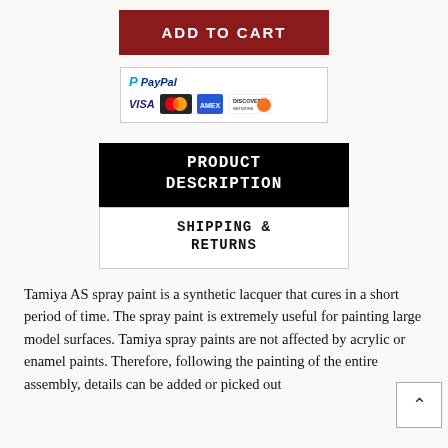[Figure (other): ADD TO CART button — dark red background with white bold uppercase text]
[Figure (other): PayPal payment methods box showing PayPal logo, VISA, MasterCard, American Express, and Discover card logos]
PRODUCT DESCRIPTION
SHIPPING & RETURNS
Tamiya AS spray paint is a synthetic lacquer that cures in a short period of time. The spray paint is extremely useful for painting large model surfaces. Tamiya spray paints are not affected by acrylic or enamel paints. Therefore, following the painting of the entire assembly, details can be added or picked out